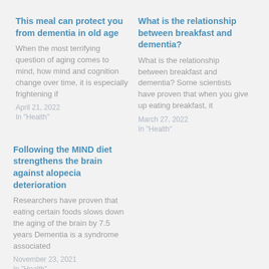This meal can protect you from dementia in old age
When the most terrifying question of aging comes to mind, how mind and cognition change over time, it is especially frightening if
April 21, 2022
In "Health"
What is the relationship between breakfast and dementia?
What is the relationship between breakfast and dementia? Some scientists have proven that when you give up eating breakfast, it
March 27, 2022
In "Health"
Following the MIND diet strengthens the brain against alopecia deterioration
Researchers have proven that eating certain foods slows down the aging of the brain by 7.5 years Dementia is a syndrome associated
November 23, 2021
In "Health"